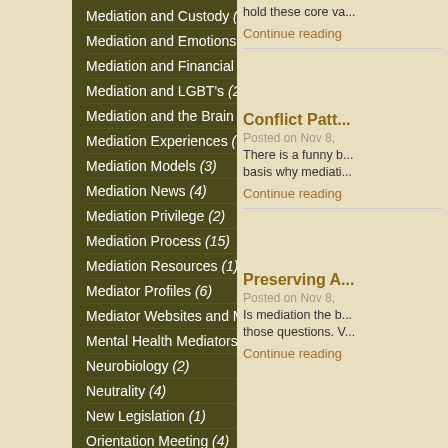Mediation and Custody (6)
Mediation and Emotions (4)
Mediation and Financial Support (5)
Mediation and LGBT's (2)
Mediation and the Brain (2)
Mediation Experiences (5)
Mediation Models (3)
Mediation News (4)
Mediation Privilege (2)
Mediation Process (15)
Mediation Resources (1)
Mediator Profiles (6)
Mediator Websites and Marketing (1)
Mental Health Mediators (1)
Neurobiology (2)
Neutrality (4)
New Legislation (1)
Orientation Meeting (4)
Peacemaking (12)
Published Articles (1)
Recent Appellate Decisions (1)
Riverside County Family Law Mediation Panel (2)
hold these core va...
Continue reading
Conflict Patt...
Posted on Nov 8,
There is a funny b... basis why mediati...
Continue reading
Preserving A...
Posted on Nov 8,
Is mediation the b... those questions. V...
Continue reading